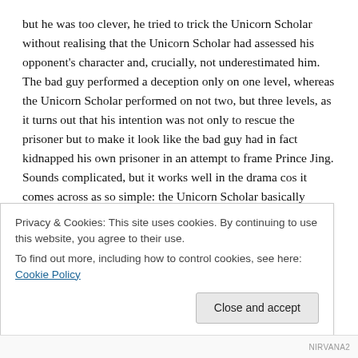but he was too clever, he tried to trick the Unicorn Scholar without realising that the Unicorn Scholar had assessed his opponent's character and, crucially, not underestimated him. The bad guy performed a deception only on one level, whereas the Unicorn Scholar performed on not two, but three levels, as it turns out that his intention was not only to rescue the prisoner but to make it look like the bad guy had in fact kidnapped his own prisoner in an attempt to frame Prince Jing. Sounds complicated, but it works well in the drama cos it comes across as so simple: the Unicorn Scholar basically followed the philosophy of the art of war, whereas the bad guy assumed he was up against someone who'd never read that book.
The second part of the plot that make this drama stand out is the culture of Imperial Chinese courts.  As far as I know, despite some surface differences e.g. role of Buddhism/Daoism, family elites, authoritarian leaders, all Chinese dynasties except the Yuan [Mongolian] were relatively
Privacy & Cookies: This site uses cookies. By continuing to use this website, you agree to their use.
To find out more, including how to control cookies, see here: Cookie Policy
Close and accept